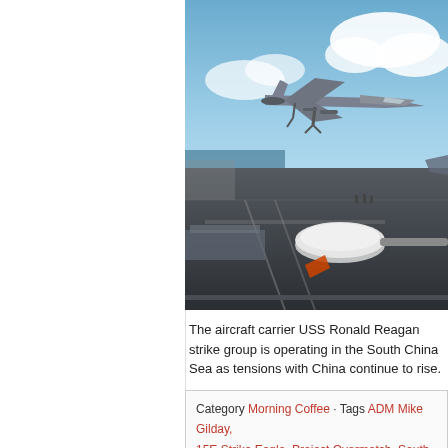[Figure (photo): A military jet aircraft (F/A-18 type) launching from the deck of USS Ronald Reagan aircraft carrier, with blue sky and clouds in background. A catapult mechanism is visible in the foreground on the carrier deck.]
The aircraft carrier USS Ronald Reagan strike group is operating in the South China Sea as tensions with China continue to rise.
Category Morning Coffee · Tags ADM Mike Gilday, 15E Strike Eagle, Project Overmatch, South China, Ronald Reagan